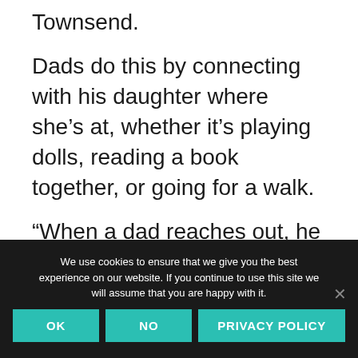Townsend.
Dads do this by connecting with his daughter where she's at, whether it's playing dolls, reading a book together, or going for a walk.
“When a dad reaches out, he helps his daughter see he’s not some strange, frightening figure who is so different from
We use cookies to ensure that we give you the best experience on our website. If you continue to use this site we will assume that you are happy with it.
OK
NO
PRIVACY POLICY